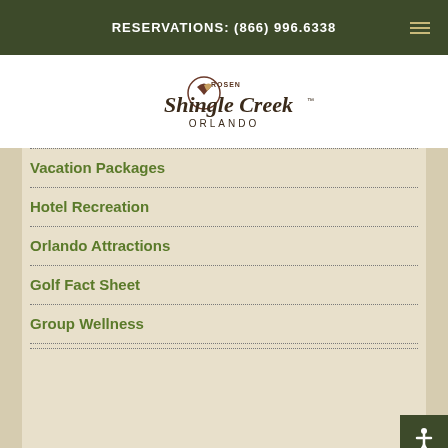RESERVATIONS: (866) 996.6338
[Figure (logo): Rosen Shingle Creek Orlando hotel logo with stylized bird and script lettering]
Vacation Packages
Hotel Recreation
Orlando Attractions
Golf Fact Sheet
Group Wellness